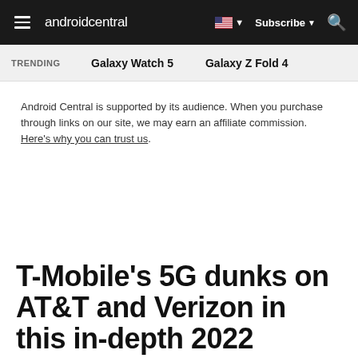androidcentral — Subscribe
TRENDING   Galaxy Watch 5   Galaxy Z Fold 4
Android Central is supported by its audience. When you purchase through links on our site, we may earn an affiliate commission. Here's why you can trust us.
T-Mobile's 5G dunks on AT&T and Verizon in this in-depth 2022